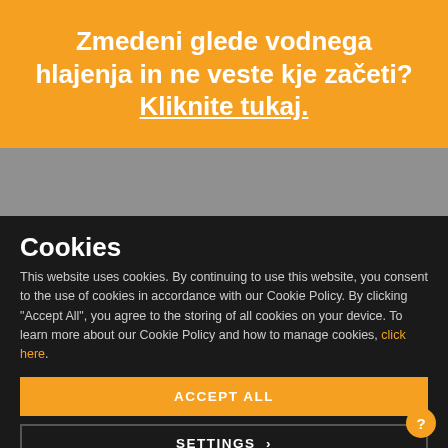Zmedeni glede vodnega hlajenja in ne veste kje začeti? Kliknite tukaj.
[Figure (other): Gray section placeholder area]
Cookies
This website uses cookies. By continuing to use this website, you consent to the use of cookies in accordance with our Cookie Policy. By clicking “Accept All”, you agree to the storing of all cookies on your device. To learn more about our Cookie Policy and how to manage cookies, click here.
ACCEPT ALL
SETTINGS ›